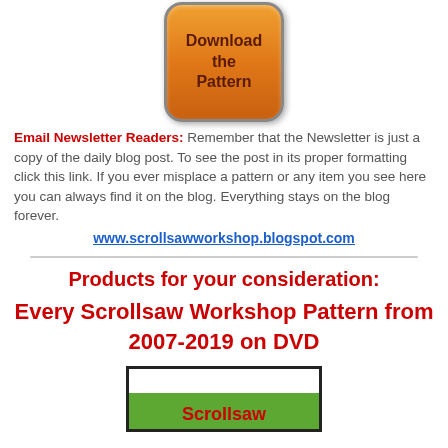[Figure (illustration): Orange rounded button with text 'Download the Pattern' in dark brown bold text, with gradient shading and drop shadow]
Email Newsletter Readers: Remember that the Newsletter is just a copy of the daily blog post. To see the post in its proper formatting click this link. If you ever misplace a pattern or any item you see here you can always find it on the blog. Everything stays on the blog forever.
www.scrollsawworkshop.blogspot.com
Products for your consideration:
Every Scrollsaw Workshop Pattern from 2007-2019 on DVD
[Figure (illustration): DVD product image showing a box with 'Scrollsaw' text in red on a green background area]